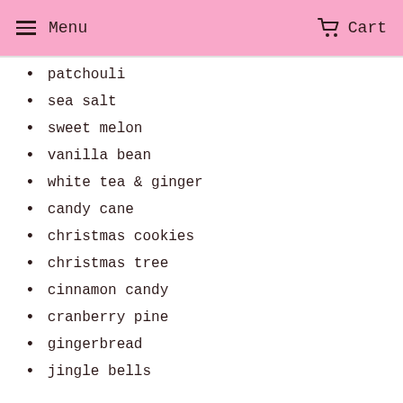Menu  Cart
patchouli
sea salt
sweet melon
vanilla bean
white tea & ginger
candy cane
christmas cookies
christmas tree
cinnamon candy
cranberry pine
gingerbread
jingle bells